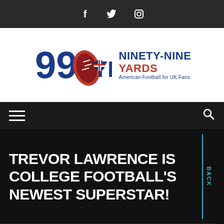Social icons: Facebook, Twitter, Instagram
[Figure (logo): 99 Yards logo with football graphic, microphone and UK flag, with text NINETY-NINE YARDS - American Football for UK Fans]
Navigation bar with hamburger menu and search icon
TREVOR LAWRENCE IS COLLEGE FOOTBALL'S NEWEST SUPERSTAR!